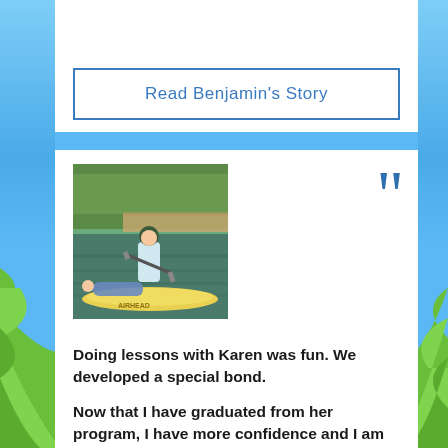Read Benjamin's Story
[Figure (photo): Person standing on a paddleboard on water, paddling, with another person lying on the board in front of them. Green trees and a dock visible in the background. Board appears yellow/cream colored.]
Doing lessons with Karen was fun. We developed a special bond.

Now that I have graduated from her program, I have more confidence and I am ready for high school.